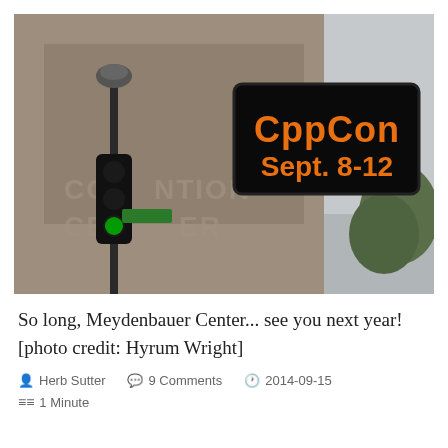[Figure (photo): Outdoor photo of a building (Meydenbauer Convention Center) with a street-level digital LED sign reading 'CppCon Sept. 8-12' in orange text on a black background, with a traffic light pole in the foreground and trees to the right.]
So long, Meydenbauer Center... see you next year! [photo credit: Hyrum Wright]
Herb Sutter   9 Comments   2014-09-15   1 Minute